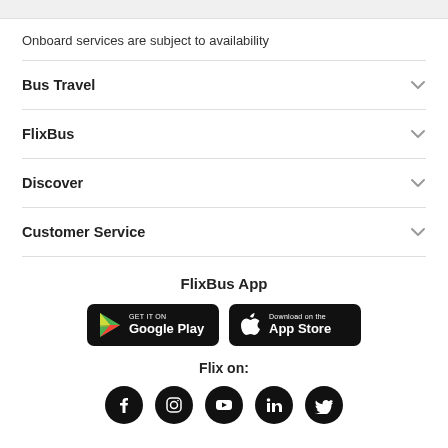Onboard services are subject to availability
Bus Travel
FlixBus
Discover
Customer Service
FlixBus App
[Figure (logo): Google Play and App Store download badges]
Flix on:
[Figure (logo): Social media icons: Facebook, Instagram, YouTube, LinkedIn, Twitter]